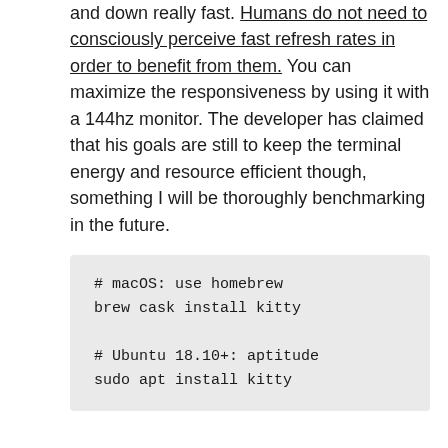and down really fast. Humans do not need to consciously perceive fast refresh rates in order to benefit from them. You can maximize the responsiveness by using it with a 144hz monitor. The developer has claimed that his goals are still to keep the terminal energy and resource efficient though, something I will be thoroughly benchmarking in the future.
Install Kitty with Homebrew, which includes macOS GUI integration out of the box.
# macOS: use homebrew
brew cask install kitty

# Ubuntu 18.10+: aptitude
sudo apt install kitty